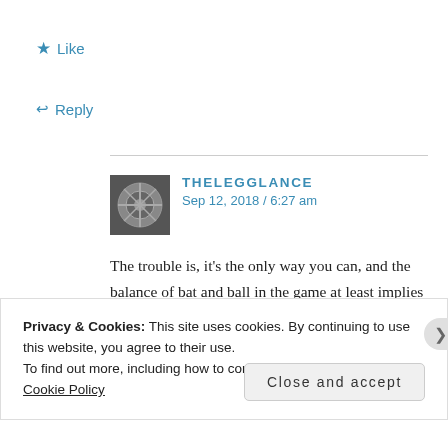★ Like
↩ Reply
THELEGGLANCE
Sep 12, 2018 / 6:27 am
The trouble is, it's the only way you can, and the balance of bat and ball in the game at least implies that
Privacy & Cookies: This site uses cookies. By continuing to use this website, you agree to their use.
To find out more, including how to control cookies, see here: Cookie Policy
Close and accept